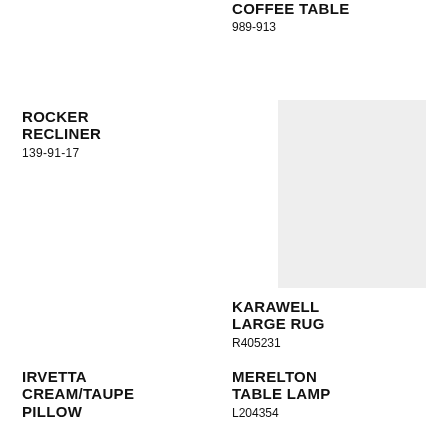COFFEE TABLE
989-913
ROCKER RECLINER
139-91-17
[Figure (photo): Placeholder image for Karawell Large Rug, light grey rectangle]
KARAWELL LARGE RUG
R405231
IRVETTA CREAM/TAUPE PILLOW
MERELTON TABLE LAMP
L204354